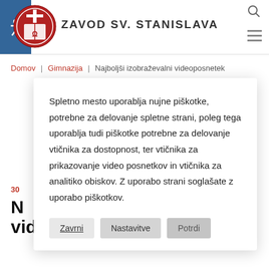[Figure (logo): Zavod Sv. Stanislava red circular logo with cross and Greek letters]
ZAVOD SV. STANISLAVA
Domov | Gimnazija | Najboljši izobraževalni videoposnetek
Spletno mesto uporablja nujne piškotke, potrebne za delovanje spletne strani, poleg tega uporablja tudi piškotke potrebne za delovanje vtičnika za dostopnost, ter vtičnika za prikazovanje video posnetkov in vtičnika za analitiko obiskov. Z uporabo strani soglašate z uporabo piškotkov.
30
N videoposnetek